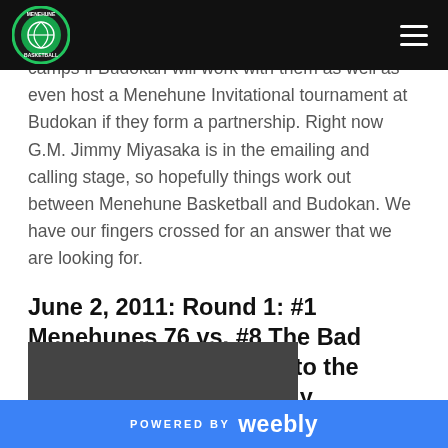Menehune Basketball logo and navigation
ies. Menehunes will even host youth basketball camps if Budokan will work with them as well as even host a Menehune Invitational tournament at Budokan if they form a partnership. Right now G.M. Jimmy Miyasaka is in the emailing and calling stage, so hopefully things work out between Menehune Basketball and Budokan. We have our fingers crossed for an answer that we are looking for.
June 2, 2011: Round 1: #1 Menehunes 76 vs. #8 The Bad Guys 59 (Win) Advance to the Semifinals next Thursday.
[Figure (photo): Partial photo visible at bottom of page]
POWERED BY weebly